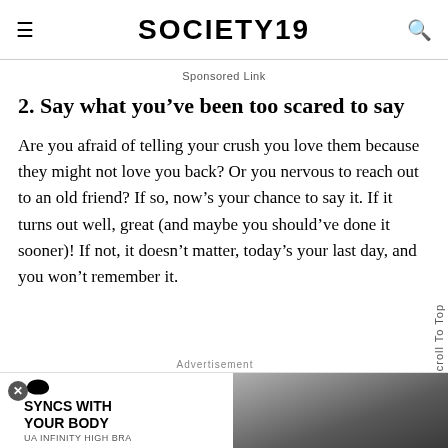SOCIETY19
Sponsored Link
2. Say what you’ve been too scared to say
Are you afraid of telling your crush you love them because they might not love you back? Or you nervous to reach out to an old friend? If so, now’s your chance to say it. If it turns out well, great (and maybe you should’ve done it sooner)! If not, it doesn’t matter, today’s your last day, and you won’t remember it.
Scroll To Top
Advertisement
[Figure (infographic): Under Armour advertisement: SYNCS WITH YOUR BODY, UA INFINITY HIGH BRA, with UA logo and fitness image]